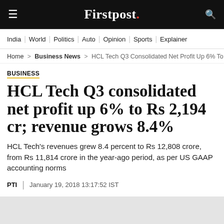Firstpost.
India | World | Politics | Auto | Opinion | Sports | Explainers
Home > Business News > HCL Tech Q3 Consolidated Net Profit Up 6% To Rs
BUSINESS
HCL Tech Q3 consolidated net profit up 6% to Rs 2,194 cr; revenue grows 8.4%
HCL Tech's revenues grew 8.4 percent to Rs 12,808 crore, from Rs 11,814 crore in the year-ago period, as per US GAAP accounting norms
PTI | January 19, 2018 13:17:52 IST